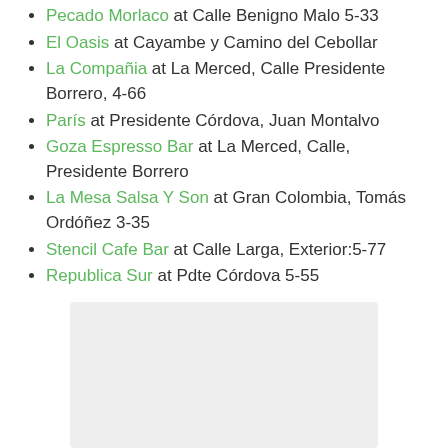Pecado Morlaco at Calle Benigno Malo 5-33
El Oasis at Cayambe y Camino del Cebollar
La Compañia at La Merced, Calle Presidente Borrero, 4-66
París at Presidente Córdova, Juan Montalvo
Goza Espresso Bar at La Merced, Calle, Presidente Borrero
La Mesa Salsa Y Son at Gran Colombia, Tomás Ordóñez 3-35
Stencil Cafe Bar at Calle Larga, Exterior:5-77
Republica Sur at Pdte Córdova 5-55
[Figure (other): Light gray map/image placeholder box]